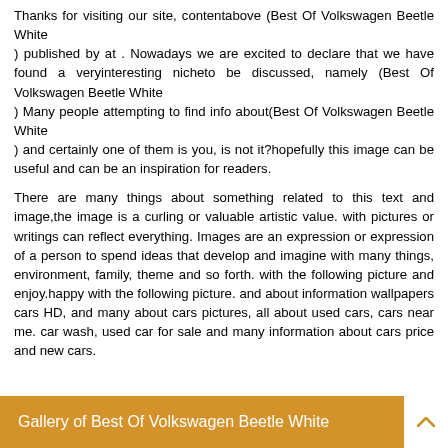Thanks for visiting our site, contentabove (Best Of Volkswagen Beetle White
) published by at . Nowadays we are excited to declare that we have found a veryinteresting nicheto be discussed, namely (Best Of Volkswagen Beetle White
) Many people attempting to find info about(Best Of Volkswagen Beetle White
) and certainly one of them is you, is not it?hopefully this image can be useful and can be an inspiration for readers.
There are many things about something related to this text and image,the image is a curling or valuable artistic value. with pictures or writings can reflect everything. Images are an expression or expression of a person to spend ideas that develop and imagine with many things, environment, family, theme and so forth. with the following picture and enjoy.happy with the following picture. and about information wallpapers cars HD, and many about cars pictures, all about used cars, cars near me. car wash, used car for sale and many information about cars price and new cars.
Gallery of Best Of Volkswagen Beetle White